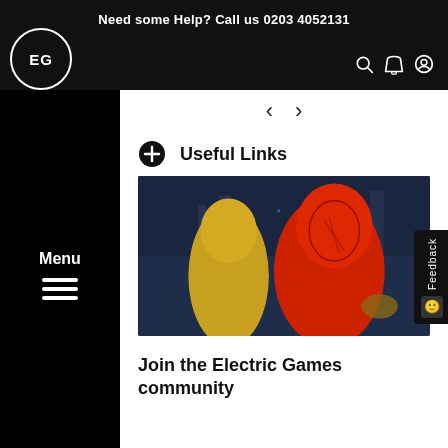Need some Help? Call us 0203 4052131
[Figure (logo): EG circular logo with 'EG' text inside a white circle on black background]
Menu
Useful Links
[Figure (photo): Video game screenshot showing two characters, one in yellow hood and one in red, against a dark blue city background]
Join the Electric Games community